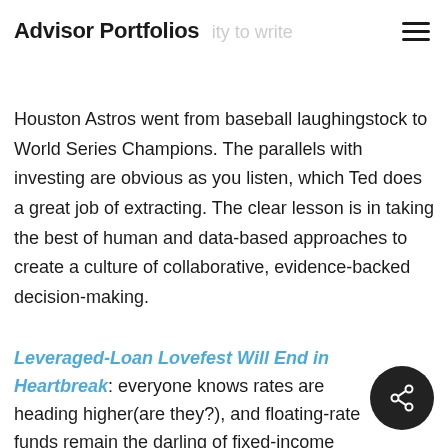Advisor Portfolios
Houston Astros went from baseball laughingstock to World Series Champions. The parallels with investing are obvious as you listen, which Ted does a great job of extracting. The clear lesson is in taking the best of human and data-based approaches to create a culture of collaborative, evidence-backed decision-making.
Leveraged-Loan Lovefest Will End in Heartbreak: everyone knows rates are heading higher(are they?), and floating-rate funds remain the darling of fixed-income